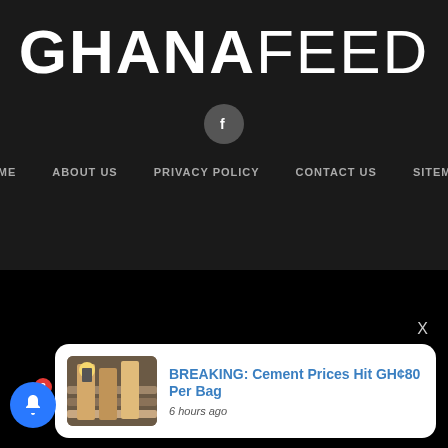GHANAFEED
[Figure (logo): Facebook circular icon button]
HOME   ABOUT US   PRIVACY POLICY   CONTACT US   SITEMAP
BREAKING: Cement Prices Hit GH¢80 Per Bag
6 hours ago